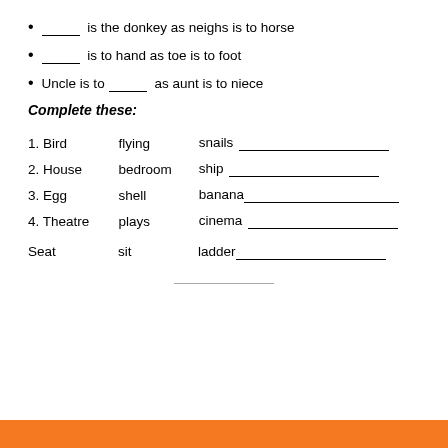_____ is the donkey as neighs is to horse
_____ is to hand as toe is to foot
Uncle is to _____ as aunt is to niece
Complete these:
| 1. Bird | flying | snails _______________ |
| 2. House | bedroom | ship _______________ |
| 3. Egg | shell | banana_______________ |
| 4. Theatre | plays | cinema _______________ |
Seat   sit   ladder_______________
_______________